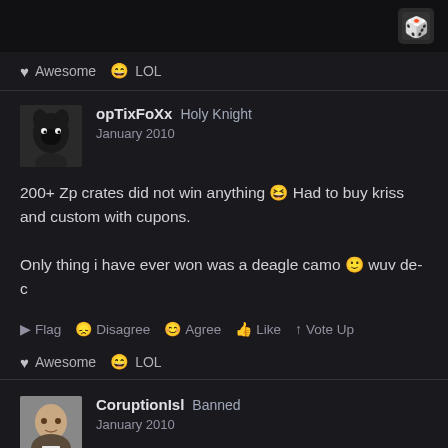[Figure (logo): Forum site logo icon in top right corner]
♥ Awesome 😄 LOL
opTixFoXx   Holy Knight
January 2010
200+ Zp crates did not win anything 😆 Had to buy kriss and custom with cupons.

Only thing i have ever won was a deagle camo 🙂 wuv de-c
▶ Flag 😞 Disagree 😊 Agree 👍 Like ↑ Vote Up
♥ Awesome 😄 LOL
CoruptionIsl   Banned
January 2010